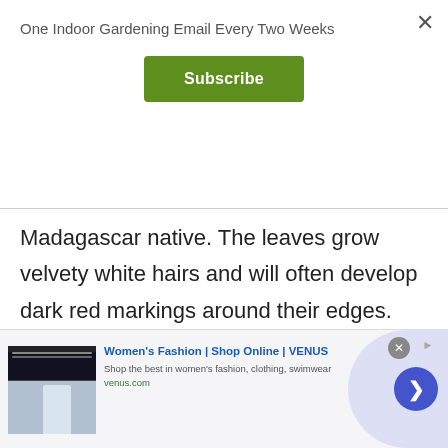One Indoor Gardening Email Every Two Weeks
Subscribe
Madagascar native. The leaves grow velvety white hairs and will often develop dark red markings around their edges. These plants can flower but they often don't. They can live for many years indoors and only require water when they start to dry out.
[Figure (screenshot): Advertisement banner for Women's Fashion | Shop Online | VENUS. Shows a thumbnail of a Venus website screenshot with a woman in white, ad title 'Women's Fashion | Shop Online | VENUS', subtitle 'Shop the best in women's fashion, clothing, swimwear', URL 'venus.com', a circular navigation arrow button on right, close button top right.]